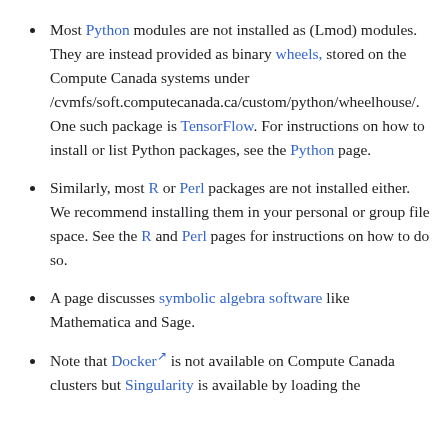Most Python modules are not installed as (Lmod) modules. They are instead provided as binary wheels, stored on the Compute Canada systems under /cvmfs/soft.computecanada.ca/custom/python/wheelhouse/. One such package is TensorFlow. For instructions on how to install or list Python packages, see the Python page.
Similarly, most R or Perl packages are not installed either. We recommend installing them in your personal or group file space. See the R and Perl pages for instructions on how to do so.
A page discusses symbolic algebra software like Mathematica and Sage.
Note that Docker is not available on Compute Canada clusters but Singularity is available by loading the appropriate module. Please see our page on containers.